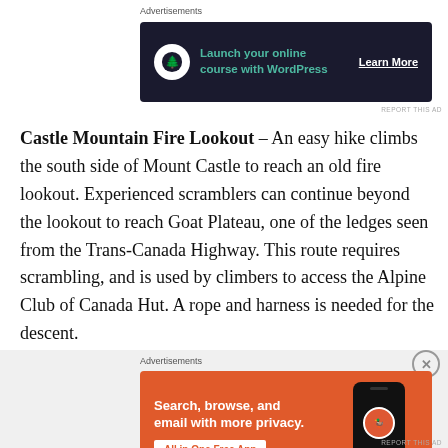[Figure (infographic): Top advertisement banner: dark navy background with tree icon, green text 'Launch your online course with WordPress', white 'Learn More' CTA link]
Castle Mountain Fire Lookout – An easy hike climbs the south side of Mount Castle to reach an old fire lookout. Experienced scramblers can continue beyond the lookout to reach Goat Plateau, one of the ledges seen from the Trans-Canada Highway. This route requires scrambling, and is used by climbers to access the Alpine Club of Canada Hut. A rope and harness is needed for the descent.
[Figure (infographic): Bottom advertisement banner: orange background with white text 'Search, browse, and email with more privacy. All in One Free App' button, DuckDuckGo logo with phone mockup on right side]